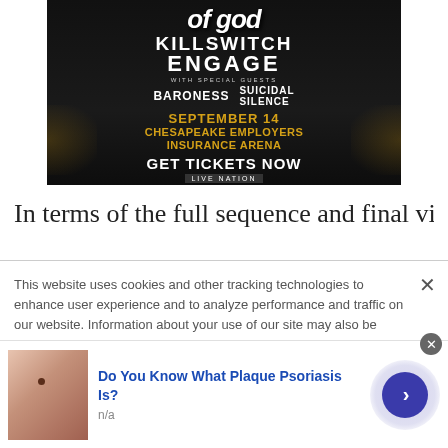[Figure (illustration): Concert advertisement banner for Lamb of God and Killswitch Engage at Chesapeake Employers Insurance Arena on September 14. Also features Baroness and Suicidal Tendencies as special guests. Black background with gold decorative wings. Get Tickets Now / Live Nation.]
In terms of the full sequence and final vision, he
This website uses cookies and other tracking technologies to enhance user experience and to analyze performance and traffic on our website. Information about your use of our site may also be shared with social media, advertising, retail and analytics providers and partners. Privacy Policy
[Figure (infographic): Health advertisement: 'Do You Know What Plaque Psoriasis Is?' with a skin/hand thumbnail image, label 'n/a', and a navigation arrow button with blue/purple halo.]